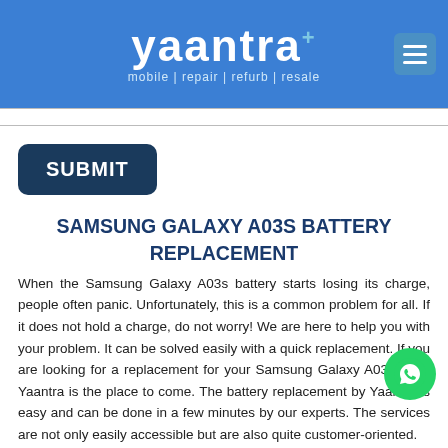yaantra+ mobile | repair | refurb | resale
SUBMIT
SAMSUNG GALAXY A03S BATTERY REPLACEMENT
When the Samsung Galaxy A03s battery starts losing its charge, people often panic. Unfortunately, this is a common problem for all. If it does not hold a charge, do not worry! We are here to help you with your problem. It can be solved easily with a quick replacement. If you are looking for a replacement for your Samsung Galaxy A03s, then Yaantra is the place to come. The battery replacement by Yaantra is easy and can be done in a few minutes by our experts. The services are not only easily accessible but are also quite customer-oriented.